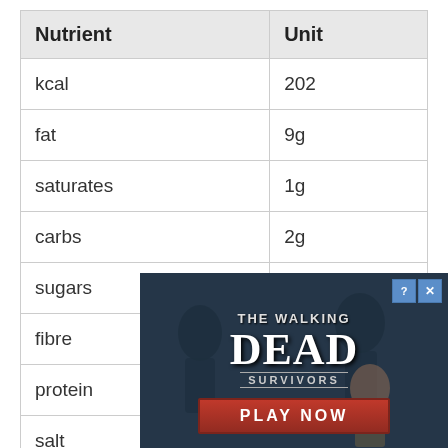| Nutrient | Unit |
| --- | --- |
| kcal | 202 |
| fat | 9g |
| saturates | 1g |
| carbs | 2g |
| sugars | 1g |
| fibre | 0g |
| protein | 28g |
| salt |  |
[Figure (other): Advertisement overlay for 'The Walking Dead: Survivors' mobile game, showing zombie figures, a young woman, game title text, and a 'PLAY NOW' button.]